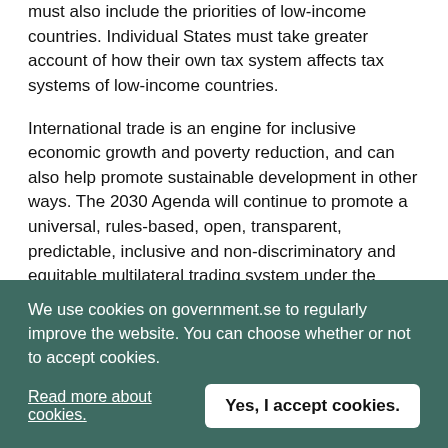must also include the priorities of low-income countries. Individual States must take greater account of how their own tax system affects tax systems of low-income countries.
International trade is an engine for inclusive economic growth and poverty reduction, and can also help promote sustainable development in other ways. The 2030 Agenda will continue to promote a universal, rules-based, open, transparent, predictable, inclusive and non-discriminatory and equitable multilateral trading system under the World Trade Organisation (WTO), as well as meaningful trade liberalisation.
The outcome document from the Third International Conference on Financing for Development (FfD) – the Addis Ababa Action Agenda – is an integral component in the implementation of the 2030 Agenda.
We use cookies on government.se to regularly improve the website. You can choose whether or not to accept cookies.
Read more about cookies.
Yes, I accept cookies.